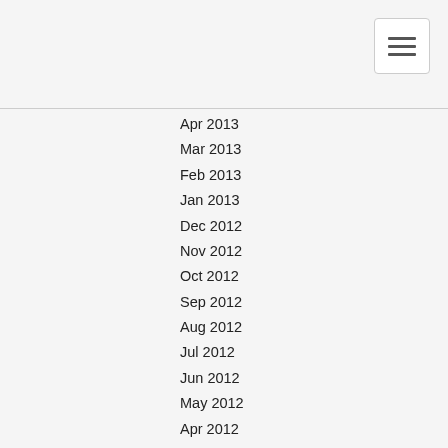Apr 2013
Mar 2013
Feb 2013
Jan 2013
Dec 2012
Nov 2012
Oct 2012
Sep 2012
Aug 2012
Jul 2012
Jun 2012
May 2012
Apr 2012
Mar 2012
Feb 2012
Jan 2012
Dec 2011
Nov 2011
Oct 2011
Sep 2011
Aug 2011
Jul 2011
Jun 2011
May 2011
Apr 2011
Mar 2011
Feb 2011
Jan 2011
Dec 2010
Nov 2010
Oct 2010
Sep 2010
Aug 2010
Jul 2010
Jun 2010
May 2010
Apr 2010